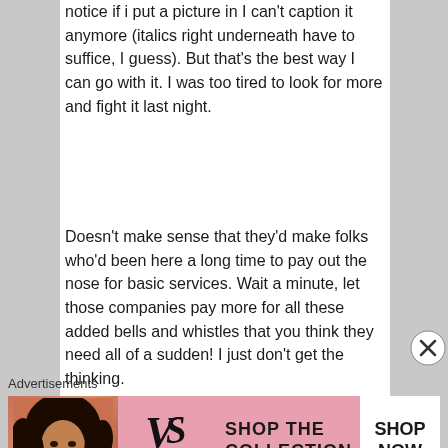notice if i put a picture in I can't caption it anymore (italics right underneath have to suffice, I guess). But that's the best way I can go with it. I was too tired to look for more and fight it last night.
Doesn't make sense that they'd make folks who'd been here a long time to pay out the nose for basic services. Wait a minute, let those companies pay more for all these added bells and whistles that you think they need all of a sudden! I just don't get the thinking.
Advertisements
[Figure (screenshot): Victoria's Secret advertisement banner with model photo, VS logo, 'SHOP THE COLLECTION' text, and 'SHOP NOW' button on pink background]